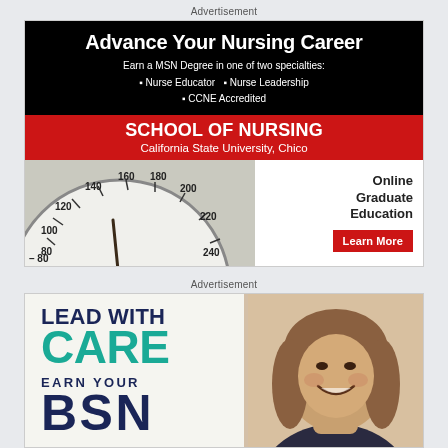Advertisement
[Figure (illustration): Advertisement for California State University Chico School of Nursing. Black top section with white bold text 'Advance Your Nursing Career', bullet points about MSN Degree in Nurse Educator, Nurse Leadership, CCNE Accredited. Red band with 'SCHOOL OF NURSING' and 'California State University, Chico'. Bottom section shows a blood pressure gauge/speedometer with numbers 80-240, and right side text 'Online Graduate Education' with red 'Learn More' button.]
Advertisement
[Figure (illustration): Advertisement with text 'LEAD WITH CARE' in dark blue and teal, 'EARN YOUR' in dark blue, 'BSN' in large dark blue letters, with a smiling woman of Asian descent on the right side.]